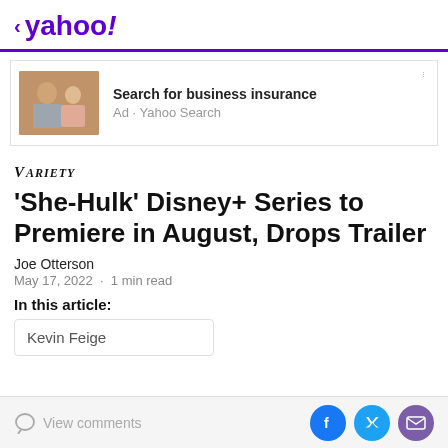< yahoo!
[Figure (infographic): Advertisement banner with photo of elderly man and caregiver woman, with text 'Search for business insurance' and 'Ad · Yahoo Search']
VARIETY
'She-Hulk' Disney+ Series to Premiere in August, Drops Trailer
Joe Otterson
May 17, 2022 · 1 min read
In this article:
Kevin Feige
View comments